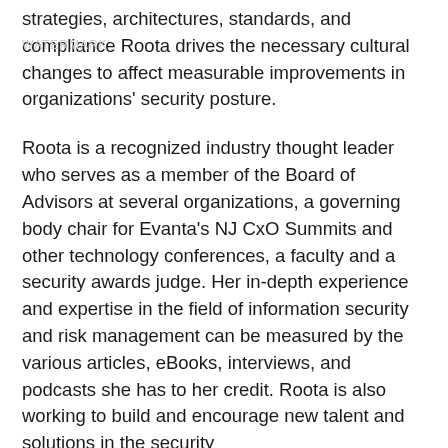strategies, architectures, standards, and compliance Roota drives the necessary cultural changes to affect measurable improvements in organizations' security posture.
Roota is a recognized industry thought leader who serves as a member of the Board of Advisors at several organizations, a governing body chair for Evanta's NJ CxO Summits and other technology conferences, a faculty and a security awards judge. Her in-depth experience and expertise in the field of information security and risk management can be measured by the various articles, eBooks, interviews, and podcasts she has to her credit. Roota is also working to build and encourage new talent and solutions in the security